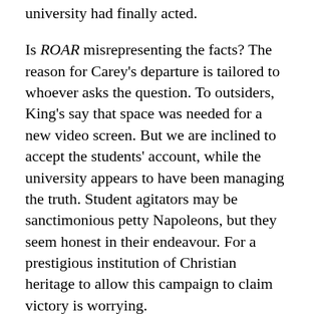university had finally acted.
Is ROAR misrepresenting the facts? The reason for Carey's departure is tailored to whoever asks the question. To outsiders, King's say that space was needed for a new video screen. But we are inclined to accept the students' account, while the university appears to have been managing the truth. Student agitators may be sanctimonious petty Napoleons, but they seem honest in their endeavour. For a prestigious institution of Christian heritage to allow this campaign to claim victory is worrying.
To label Carey a homophobe is to enter the theatre of the absurd. The Established Church does not restrict membership or ministration of sacraments to a holy huddle of Hallelujah criers who sign a confessional statement. By law, an Anglican cleric is required to minister to every